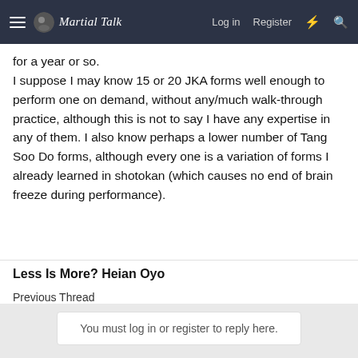Martial Talk — Log in  Register
for a year or so.
I suppose I may know 15 or 20 JKA forms well enough to perform one on demand, without any/much walk-through practice, although this is not to say I have any expertise in any of them. I also know perhaps a lower number of Tang Soo Do forms, although every one is a variation of forms I already learned in shotokan (which causes no end of brain freeze during performance).
◄ Prev  1  2  3
You must log in or register to reply here.
Less Is More? Heian Oyo
Previous Thread